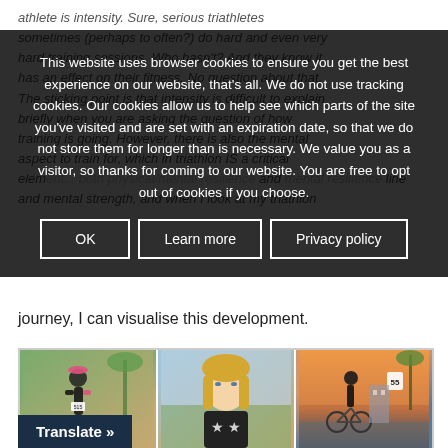athlete is intensity. Sure, serious triathletes sometimes (perhaps to often?) do hard and even very hard training sessions. Who hasn't? And they know it has an effect on their fitness. No question about that. The sticking point is that intensity is difficult to explain briefly when you are asking the question of how training is going. However, there is also the mental aspect to train for, which in triathlon IS a critical element... both physical/mental resilience and mental strength, and when I look at my triathlon journey, I can visualise this development.
This website uses browser cookies to ensure you get the best experience on our website, that's all. We do not use tracking cookies. Our cookies allow us to help see which parts of the site you've visited and are set with an expiration date, so that we do not store them for longer than is necessary. We value you as a visitor, so thanks for coming to our website. You are free to opt out of cookies if you choose.
OK | Learn more | Privacy policy
journey, I can visualise this development.
[Figure (photo): Three photos of an athlete: left shows female athlete in race bib 515 running, center shows blonde woman selfie, right shows cyclist with bike at sunset near palm trees.]
Translate »